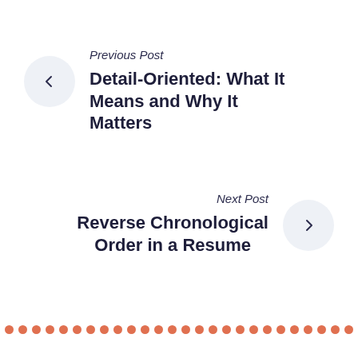Previous Post
Detail-Oriented: What It Means and Why It Matters
Next Post
Reverse Chronological Order in a Resume